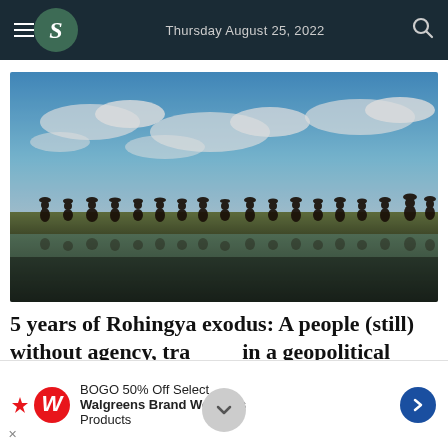Thursday August 25, 2022
[Figure (photo): A long line of Rohingya refugees carrying belongings on their heads walking along a narrow path reflected in water below, under a blue sky with scattered clouds.]
5 years of Rohingya exodus: A people (still) without agency, trapped in a geopolitical
[Figure (infographic): BOGO 50% Off Select Walgreens Brand Wellness Products advertisement banner with Walgreens logo and blue arrow icon.]